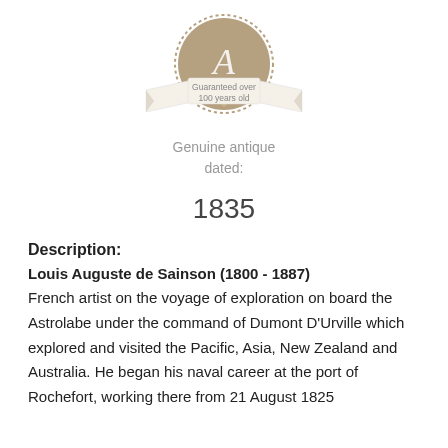[Figure (logo): Circular badge with letter A in the center and a ribbon banner across reading 'Guaranteed over 100 years old']
Genuine antique
dated:
1835
Description:
Louis Auguste de Sainson (1800 - 1887)
French artist on the voyage of exploration on board the Astrolabe under the command of Dumont D'Urville which explored and visited the Pacific, Asia, New Zealand and Australia. He began his naval career at the port of Rochefort, working there from 21 August 1825